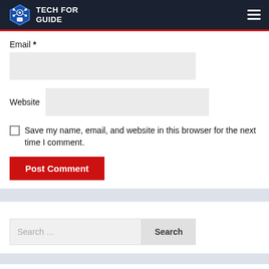TECH FOR GUIDE
Email *
Website
Save my name, email, and website in this browser for the next time I comment.
Post Comment
Search ...
RECENT POSTS